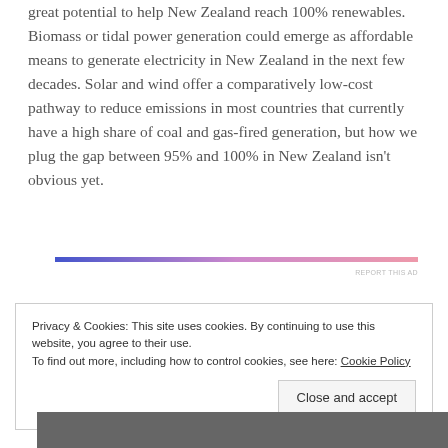great potential to help New Zealand reach 100% renewables. Biomass or tidal power generation could emerge as affordable means to generate electricity in New Zealand in the next few decades. Solar and wind offer a comparatively low-cost pathway to reduce emissions in most countries that currently have a high share of coal and gas-fired generation, but how we plug the gap between 95% and 100% in New Zealand isn't obvious yet.
[Figure (other): A horizontal gradient bar from blue on the left to pink/red on the right, representing an advertisement separator, with 'REPORT THIS AD' text on the right.]
Privacy & Cookies: This site uses cookies. By continuing to use this website, you agree to their use.
To find out more, including how to control cookies, see here: Cookie Policy
Close and accept
[Figure (photo): A partial photo strip visible at the bottom of the page, showing a dark blurred image.]